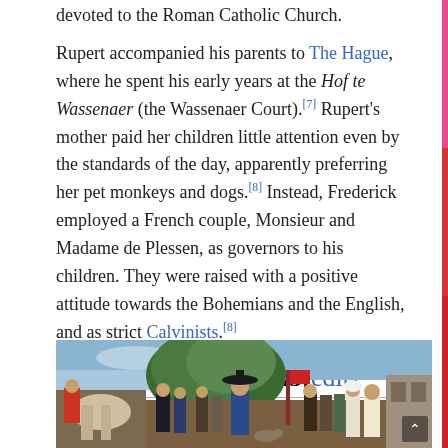devoted to the Roman Catholic Church.
Rupert accompanied his parents to The Hague, where he spent his early years at the Hof te Wassenaer (the Wassenaer Court).[7] Rupert's mother paid her children little attention even by the standards of the day, apparently preferring her pet monkeys and dogs.[8] Instead, Frederick employed a French couple, Monsieur and Madame de Plessen, as governors to his children. They were raised with a positive attitude towards the Bohemians and the English, and as strict Calvinists.[8]
Early phases, 1642–43[edit]
[Figure (illustration): Historical painting showing a large crowd scene with soldiers, horses, and civilians gathered outdoors near trees and buildings, depicting an early English Civil War scene.]